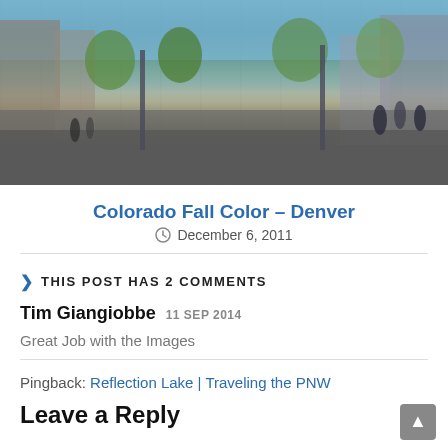[Figure (photo): Street scene photo of Denver 16th Street Mall with pedestrians, trees, and storefronts on a sunny day]
Colorado Fall Color – Denver
December 6, 2011
THIS POST HAS 2 COMMENTS
Tim Giangiobbe  11 SEP 2014
Great Job with the Images
Pingback: Reflection Lake | Traveling the PNW
Leave a Reply